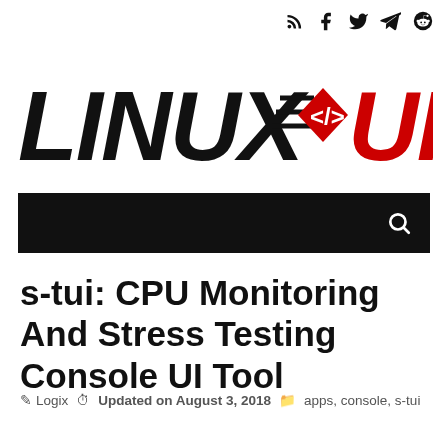[Figure (logo): Linux Uprising logo with social media icons (RSS, Facebook, Twitter, Telegram, Reddit)]
[Figure (screenshot): Black navigation bar with search icon on the right]
s-tui: CPU Monitoring And Stress Testing Console UI Tool
Logix  Updated on August 3, 2018  apps, console, s-tui